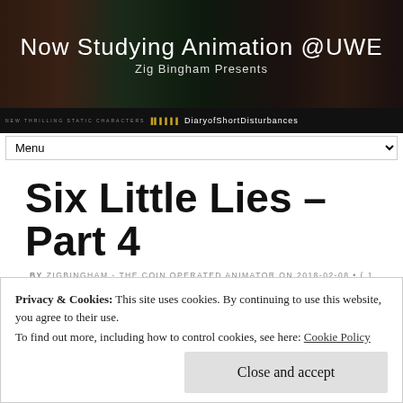Now Studying Animation @UWE
Zig Bingham Presents
Six Little Lies – Part 4
BY ZIGBINGHAM - THE COIN OPERATED ANIMATOR ON 2018-02-08 • ( 1 COMMENT )
Privacy & Cookies: This site uses cookies. By continuing to use this website, you agree to their use.
To find out more, including how to control cookies, see here: Cookie Policy
Close and accept